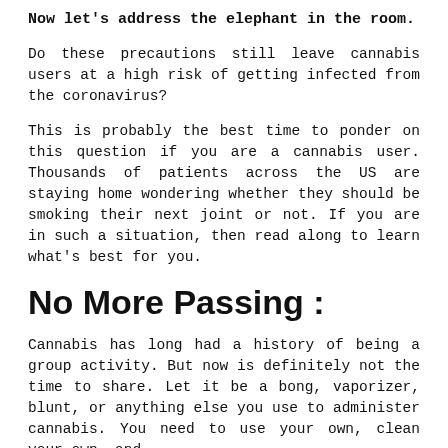Now let's address the elephant in the room.
Do these precautions still leave cannabis users at a high risk of getting infected from the coronavirus?
This is probably the best time to ponder on this question if you are a cannabis user. Thousands of patients across the US are staying home wondering whether they should be smoking their next joint or not. If you are in such a situation, then read along to learn what's best for you.
No More Passing :
Cannabis has long had a history of being a group activity. But now is definitely not the time to share. Let it be a bong, vaporizer, blunt, or anything else you use to administer cannabis. You need to use your own, clean your own, and